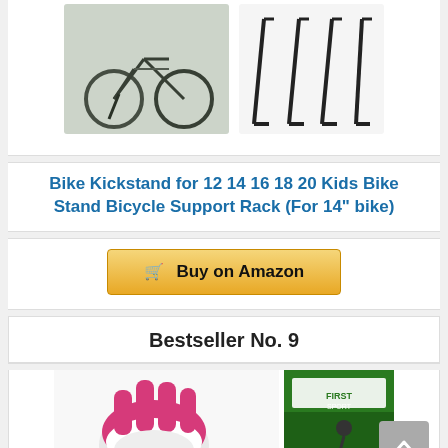[Figure (photo): Product images of a bike kickstand: a bicycle leaning on a kickstand (left photo) and multiple kickstand styles shown (right photo), on white background at top]
Bike Kickstand for 12 14 16 18 20 Kids Bike Stand Bicycle Support Rack (For 14" bike)
Buy on Amazon
Bestseller No. 9
[Figure (photo): Product image of pink and white cycling gloves with a green product box showing a mountain biker]